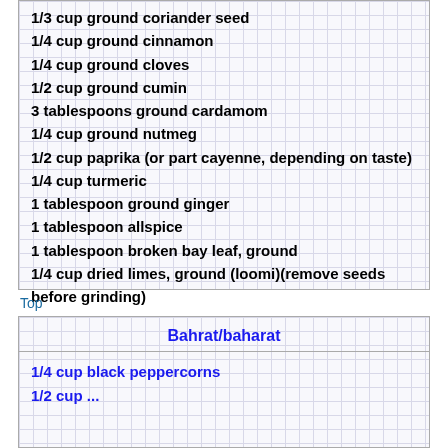1/3 cup ground coriander seed
1/4 cup ground cinnamon
1/4 cup ground cloves
1/2 cup ground cumin
3 tablespoons ground cardamom
1/4 cup ground nutmeg
1/2 cup paprika (or part cayenne, depending on taste)
1/4 cup turmeric
1 tablespoon ground ginger
1 tablespoon allspice
1 tablespoon broken bay leaf, ground
1/4 cup dried limes, ground (loomi)(remove seeds before grinding)
Grind and mix all ingredients after roasting as above; store in a tightly sealed jar.
Top
Bahrat/baharat
1/4 cup black peppercorns
1/2 cup ...